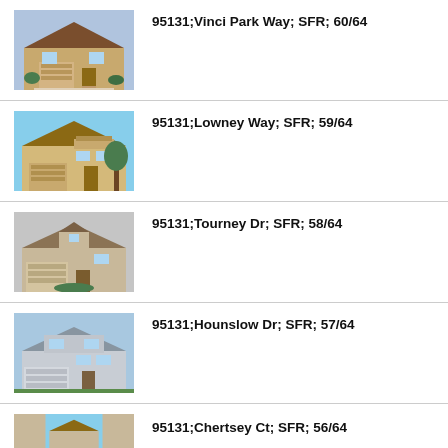95131;Vinci Park Way; SFR; 60/64
95131;Lowney Way; SFR; 59/64
95131;Tourney Dr; SFR; 58/64
95131;Hounslow Dr; SFR; 57/64
95131;Chertsey Ct; SFR; 56/64